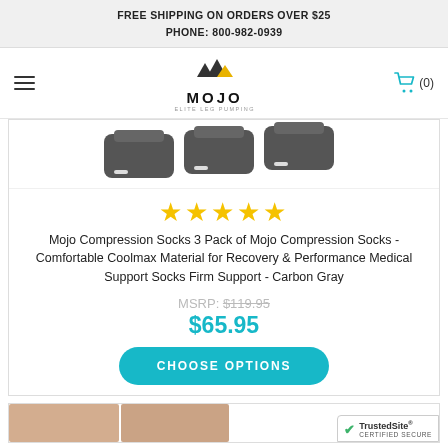FREE SHIPPING ON ORDERS OVER $25
PHONE: 800-982-0939
[Figure (logo): Mojo Elite Leg Pumping logo with mountain triangle icon]
[Figure (photo): Gray compression socks product photo showing 3 pairs of dark gray socks]
[Figure (other): 5 gold star rating]
Mojo Compression Socks 3 Pack of Mojo Compression Socks - Comfortable Coolmax Material for Recovery & Performance Medical Support Socks Firm Support - Carbon Gray
MSRP: $119.95
$65.95
CHOOSE OPTIONS
[Figure (photo): Bottom product card showing skin-tone colored socks, partially visible]
[Figure (other): TrustedSite Certified Secure badge]